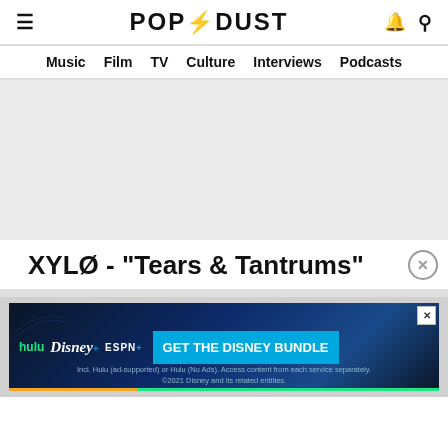≡  POP⚡DUST  🔔  🔍
Music  Film  TV  Culture  Interviews  Podcasts
[Figure (other): Light grey article image placeholder area]
XYLØ - "Tears & Tantrums"
[Figure (infographic): Disney Bundle advertisement banner with Hulu, Disney+, and ESPN+ logos and GET THE DISNEY BUNDLE call to action button. Fine print: Incl. Hulu (ad-supported) or Hulu (No Ads). Access content from each service separately. ©2021 Disney and its related entities.]